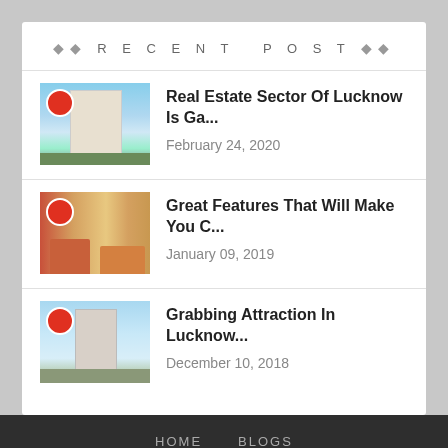RECENT POST
Real Estate Sector Of Lucknow Is Ga...
February 24, 2020
Great Features That Will Make You C...
January 09, 2019
Grabbing Attraction In Lucknow...
December 10, 2018
HOME    BLOGS